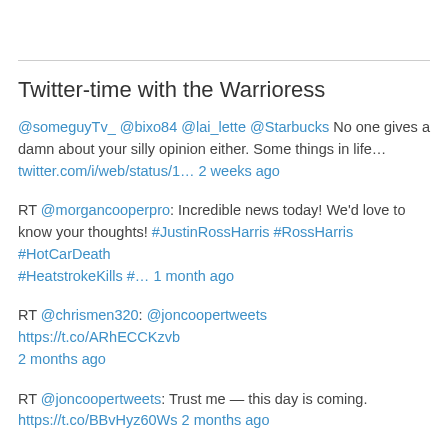Twitter-time with the Warrioress
@someguyTv_ @bixo84 @lai_lette @Starbucks No one gives a damn about your silly opinion either. Some things in life…
twitter.com/i/web/status/1… 2 weeks ago
RT @morgancooperpro: Incredible news today! We'd love to know your thoughts! #JustinRossHarris #RossHarris #HotCarDeath #HeatstrokeKills #… 1 month ago
RT @chrismen320: @joncoopertweets https://t.co/ARhECCKzvb 2 months ago
RT @joncoopertweets: Trust me — this day is coming. https://t.co/BBvHyz60Ws 2 months ago
RT @BetoORourke: These massacres aren't natural disasters, acts of God, or random. They are totally predictable, direct consequence of t…